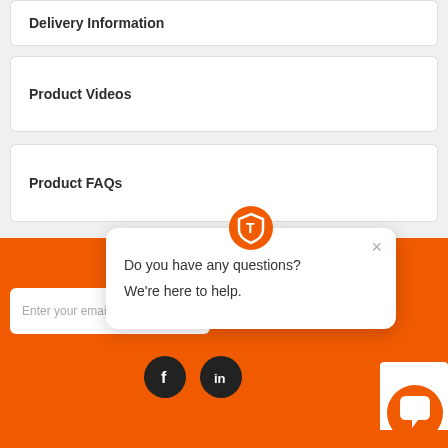Delivery Information
Product Videos
Product FAQs
Sign up f…
Enter your email addre…
[Figure (screenshot): Chat popup widget with logo icon, close button (×), and text 'Do you have any questions? We're here to help.']
[Figure (logo): Facebook and LinkedIn social icons in dark circles]
[Figure (infographic): Orange chat bubble button in bottom right corner]